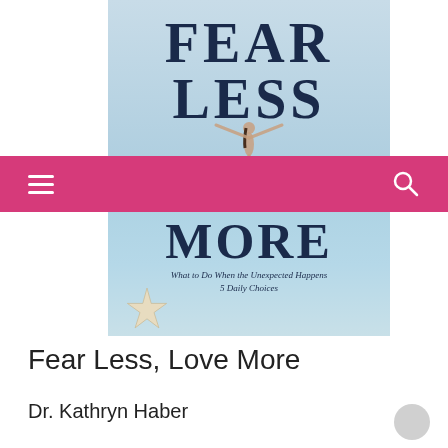[Figure (photo): Book cover of 'Fear Less, Love More' by Dr. Kathryn Haber. Light blue beach background with a woman standing with arms outstretched, a starfish in the lower left corner. Large serif bold text reads FEAR LESS on top and LOVE MORE below. Subtitle: What to Do When the Unexpected Happens, 5 Daily Choices.]
Fear Less, Love More
Dr. Kathryn Haber